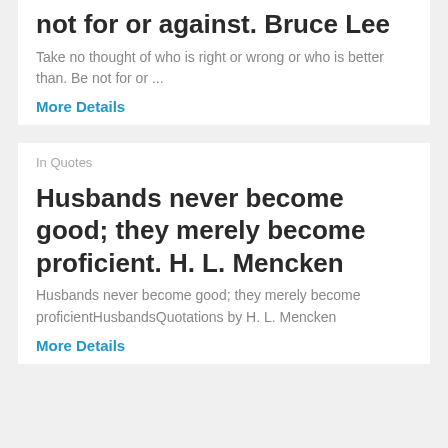not for or against. Bruce Lee
Take no thought of who is right or wrong or who is better than. Be not for or ...
More Details
In Quotes
Husbands never become good; they merely become proficient. H. L. Mencken
Husbands never become good; they merely become proficientHusbandsQuotations by H. L. Mencken
More Details